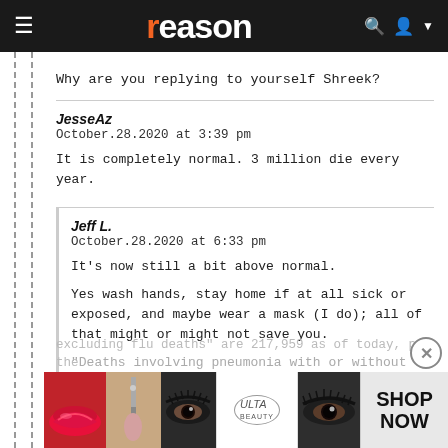reason
Why are you replying to yourself Shreek?
JesseAz
October.28.2020 at 3:39 pm

It is completely normal. 3 million die every year.
Jeff L.
October.28.2020 at 6:33 pm

It's now still a bit above normal.

Yes wash hands, stay home if at all sick or exposed, and maybe wear a mask (I do); all of that might or might not save you.

"Deaths involving pneumonia with or without COVID 1... excluding flu deaths" are 217,959 as of today, per the
people age 55 and up.
[Figure (other): ULTA Beauty advertisement banner with makeup imagery (lipstick, brush, eyes) and SHOP NOW text]